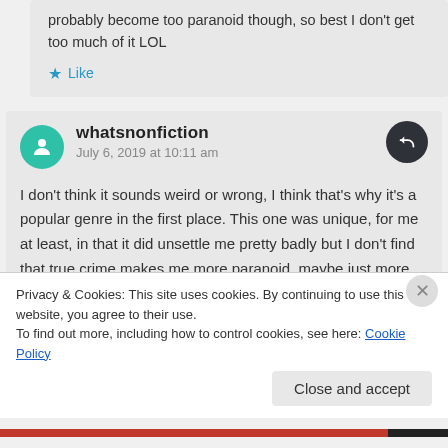probably become too paranoid though, so best I don't get too much of it LOL
Like
whatsnonfiction
July 6, 2019 at 10:11 am
I don't think it sounds weird or wrong, I think that's why it's a popular genre in the first place. This one was unique, for me at least, in that it did unsettle me pretty badly but I don't find that true crime makes me more paranoid, maybe just more aware. I realize there was stuff I used to do
Privacy & Cookies: This site uses cookies. By continuing to use this website, you agree to their use.
To find out more, including how to control cookies, see here: Cookie Policy
Close and accept